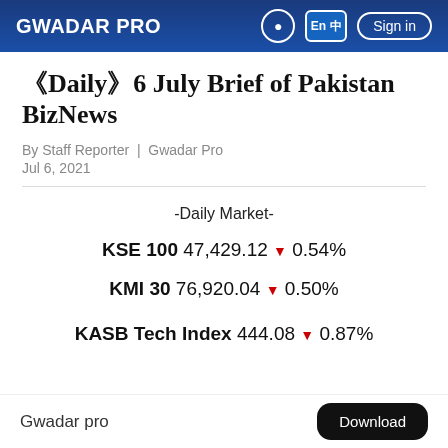GWADAR PRO
【Daily】6 July Brief of Pakistan BizNews
By Staff Reporter | Gwadar Pro
Jul 6, 2021
-Daily Market-
KSE 100 47,429.12 ▼ 0.54%
KMI 30 76,920.04 ▼ 0.50%
KASB Tech Index 444.08 ▼ 0.87%
Gwadar pro  Download